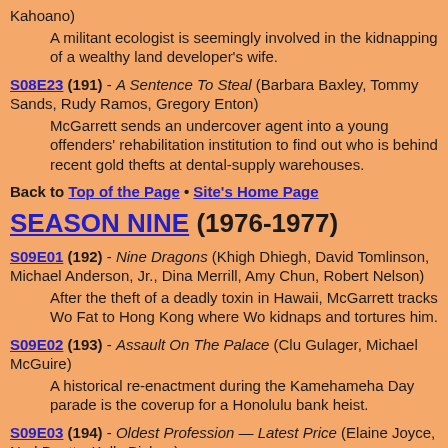Kahoano)
A militant ecologist is seemingly involved in the kidnapping of a wealthy land developer's wife.
S08E23 (191) - A Sentence To Steal (Barbara Baxley, Tommy Sands, Rudy Ramos, Gregory Enton)
McGarrett sends an undercover agent into a young offenders' rehabilitation institution to find out who is behind recent gold thefts at dental-supply warehouses.
Back to Top of the Page • Site's Home Page
SEASON NINE (1976-1977)
S09E01 (192) - Nine Dragons (Khigh Dhiegh, David Tomlinson, Michael Anderson, Jr., Dina Merrill, Amy Chun, Robert Nelson)
After the theft of a deadly toxin in Hawaii, McGarrett tracks Wo Fat to Hong Kong where Wo kidnaps and tortures him.
S09E02 (193) - Assault On The Palace (Clu Gulager, Michael McGuire)
A historical re-enactment during the Kamehameha Day parade is the coverup for a Honolulu bank heist.
S09E03 (194) - Oldest Profession — Latest Price (Elaine Joyce, Ned Beatty, Kelly Bishop)
Prostitutes are extorted for protection money after one of them is seriously injured in a bomb blast and two others are murdered.